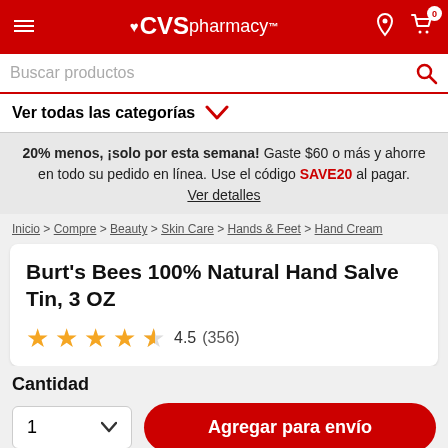CVS pharmacy™
Buscar productos
Ver todas las categorías
20% menos, ¡solo por esta semana! Gaste $60 o más y ahorre en todo su pedido en línea. Use el código SAVE20 al pagar. Ver detalles
Inicio > Compre > Beauty > Skin Care > Hands & Feet > Hand Cream
Burt's Bees 100% Natural Hand Salve Tin, 3 OZ
4.5 (356)
Cantidad
1
Agregar para envío